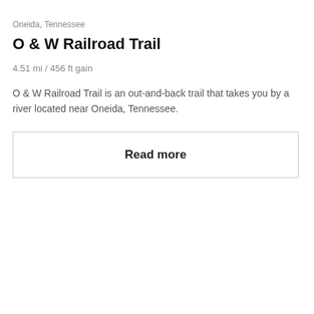Oneida, Tennessee
O & W Railroad Trail
4.51 mi / 456 ft gain
O & W Railroad Trail is an out-and-back trail that takes you by a river located near Oneida, Tennessee.
Read more